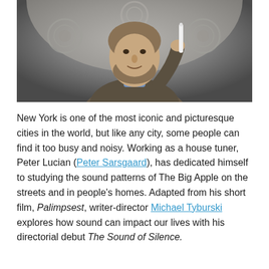[Figure (photo): A bearded man with medium-length brown hair holding what appears to be a thin white cylindrical object (possibly a tuning instrument) up to his face, wearing a tweed jacket and blue collar, photographed against an ornate stone architectural background with circular decorative elements.]
New York is one of the most iconic and picturesque cities in the world, but like any city, some people can find it too busy and noisy. Working as a house tuner, Peter Lucian (Peter Sarsgaard), has dedicated himself to studying the sound patterns of The Big Apple on the streets and in people's homes. Adapted from his short film, Palimpsest, writer-director Michael Tyburski explores how sound can impact our lives with his directorial debut The Sound of Silence.